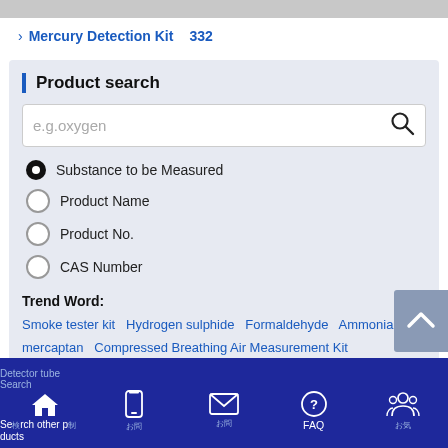Mercury Detection Kit  332
Product search
e.g.oxygen
Substance to be Measured
Product Name
Product No.
CAS Number
Trend Word:
Smoke tester kit  Hydrogen sulphide  Formaldehyde  Ammonia  mercaptan  Compressed Breathing Air Measurement Kit
Detector tube Search | (phone icon) | (email icon) | FAQ | (people icon) | Search other products